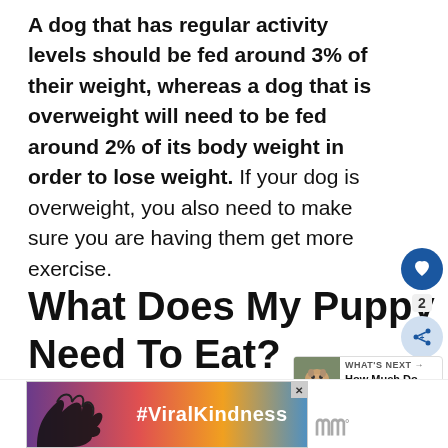A dog that has regular activity levels should be fed around 3% of their weight, whereas a dog that is overweight will need to be fed around 2% of its body weight in order to lose weight. If your dog is overweight, you also need to make sure you are having them get more exercise.
What Does My Puppy Need To Eat?
[Figure (other): Social sidebar with heart/like button (blue circle), count of 2, and share button (light blue circle)]
[Figure (other): What's Next card showing a pug thumbnail with text 'How Much Do Pugs Cost:...']
[Figure (other): Advertisement banner with hands forming heart shape, #ViralKindness text, and brand logo]